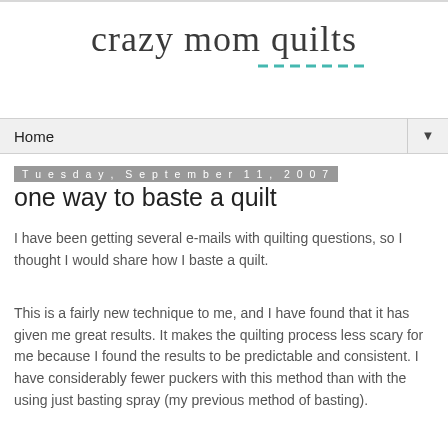crazy mom quilts
Home
Tuesday, September 11, 2007
one way to baste a quilt
I have been getting several e-mails with quilting questions, so I thought I would share how I baste a quilt.
This is a fairly new technique to me, and I have found that it has given me great results. It makes the quilting process less scary for me because I found the results to be predictable and consistent. I have considerably fewer puckers with this method than with the using just basting spray (my previous method of basting).